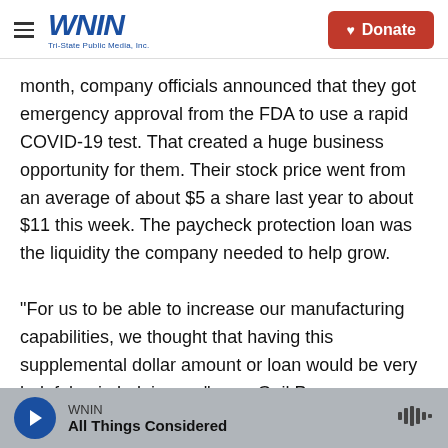WNIN Tri-State Public Media, Inc. | Donate
month, company officials announced that they got emergency approval from the FDA to use a rapid COVID-19 test. That created a huge business opportunity for them. Their stock price went from an average of about $5 a share last year to about $11 this week. The paycheck protection loan was the liquidity the company needed to help grow.

"For us to be able to increase our manufacturing capabilities, we thought that having this supplemental dollar amount or loan would be very helpful ... in helping us," says Gail Page, a Chembio board member and former interim CEO. "When you
WNIN | All Things Considered